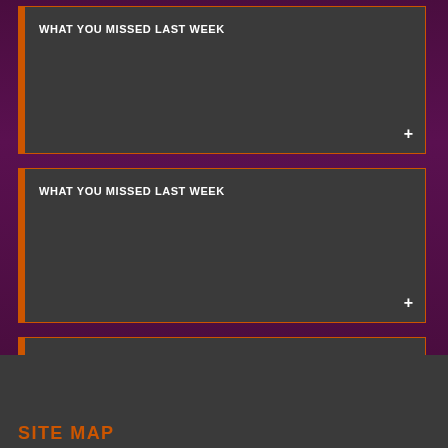WHAT YOU MISSED LAST WEEK
WHAT YOU MISSED LAST WEEK
WHAT YOU MISSED LAST WEEK
SITE MAP